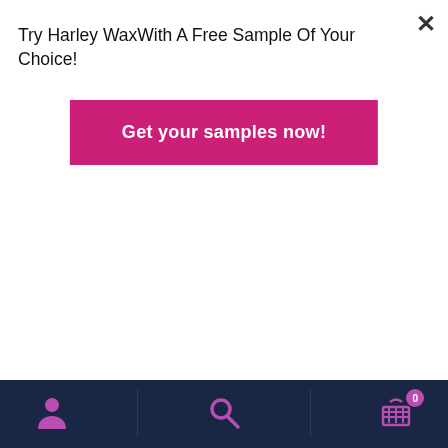Try Harley WaxWith A Free Sample Of Your Choice!
Get your samples now!
Hold the spatula at the right angle when you apply wax. The angle of the spatula needs to be like scraping cold butter on toast, which is a great way to make sure the hairs are lifted into the wax and so you get the wax to skin level and not floating among the surface of the hairs. Applying the wax to grip the entire length of the hair is very important. Applying
[Figure (infographic): Bottom navigation bar with dark navy background containing three icons: person/user icon on the left, search/magnifying glass in the center, and shopping basket with badge showing 0 on the right. All icons in purple/magenta color.]